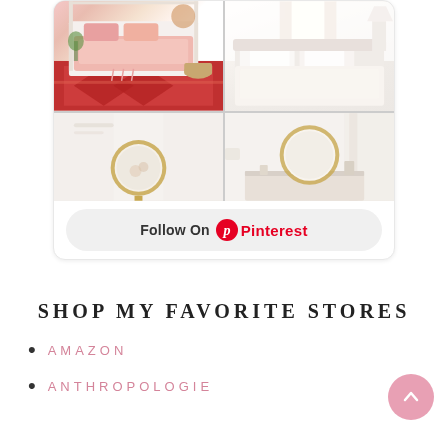[Figure (photo): Pinterest widget showing a 2x2 grid of bedroom photos — top-left: pink/bohemian styled bedroom with red geometric rug and pink bedding; top-right: white/cream luxurious bedroom with white pillows and curtains; bottom-left: white room with gold circular mirror; bottom-right: light room with gold circular mirror. Below the photos is a 'Follow On Pinterest' button.]
SHOP MY FAVORITE STORES
AMAZON
ANTHROPOLOGIE